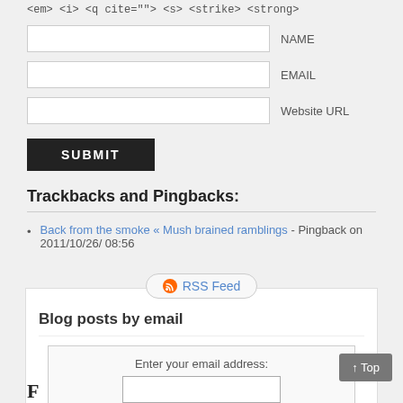<em> <i> <q cite=""> <s> <strike> <strong>
[Figure (screenshot): Web form with NAME, EMAIL, Website URL text input fields]
SUBMIT button
Trackbacks and Pingbacks:
Back from the smoke « Mush brained ramblings - Pingback on 2011/10/26/ 08:56
[Figure (screenshot): RSS Feed pill button]
Blog posts by email
Enter your email address: [input] Subscribe Delivered by FeedBurner